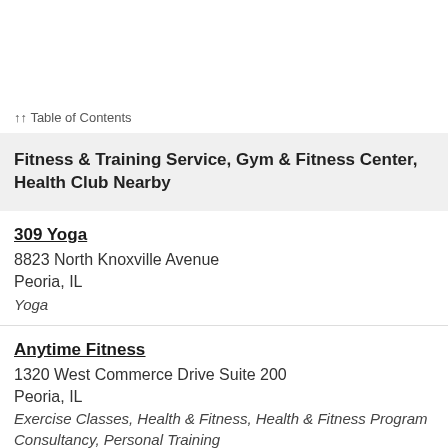↑↑ Table of Contents
Fitness & Training Service, Gym & Fitness Center, Health Club Nearby
309 Yoga
8823 North Knoxville Avenue
Peoria, IL
Yoga
Anytime Fitness
1320 West Commerce Drive Suite 200
Peoria, IL
Exercise Classes, Health & Fitness, Health & Fitness Program Consultancy, Personal Training